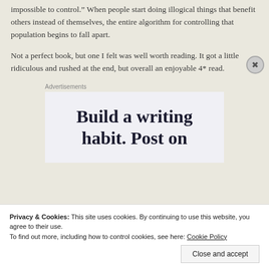impossible to control.”  When people start doing illogical things that benefit others instead of themselves, the entire algorithm for controlling that population begins to fall apart.
Not a perfect book, but one I felt was well worth reading.  It got a little ridiculous and rushed at the end, but overall an enjoyable 4* read.
[Figure (other): Advertisement banner with text 'Build a writing habit. Post on']
Privacy & Cookies: This site uses cookies. By continuing to use this website, you agree to their use.
To find out more, including how to control cookies, see here: Cookie Policy